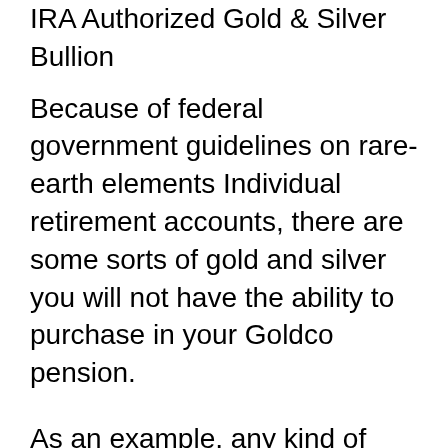IRA Authorized Gold & Silver Bullion
Because of federal government guidelines on rare-earth elements Individual retirement accounts, there are some sorts of gold and silver you will not have the ability to purchase in your Goldco pension.
As an example, any kind of gold product you purchase for your individual retirement account needs to have an excellence of at the very least.999. The same is true for silver.
Any gold or silver you presently own can not be put in an Individual retirement account. You require to initially open up an individual retirement account and afterwards purchase coins to include in it.